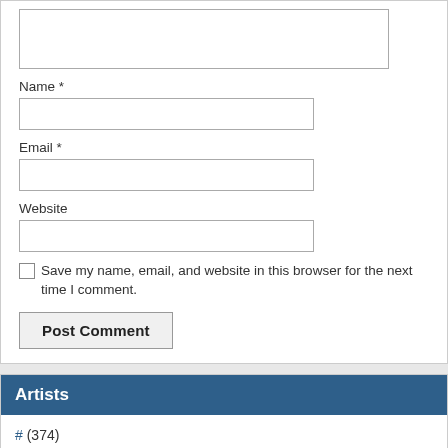[Figure (screenshot): Textarea input box at the top of a comment form]
Name *
[Figure (screenshot): Name text input field]
Email *
[Figure (screenshot): Email text input field]
Website
[Figure (screenshot): Website text input field]
Save my name, email, and website in this browser for the next time I comment.
Post Comment
Artists
# (374)
A (1,892)
B (2,072)